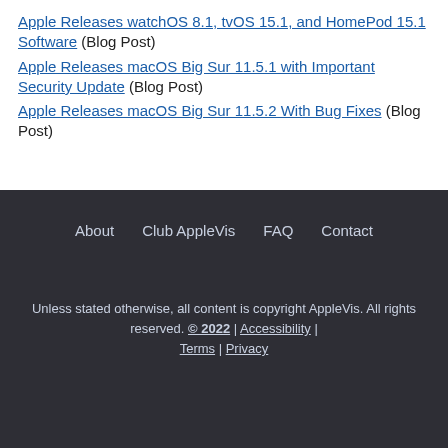Apple Releases watchOS 8.1, tvOS 15.1, and HomePod 15.1 Software (Blog Post)
Apple Releases macOS Big Sur 11.5.1 with Important Security Update (Blog Post)
Apple Releases macOS Big Sur 11.5.2 With Bug Fixes (Blog Post)
About | Club AppleVis | FAQ | Contact
Unless stated otherwise, all content is copyright AppleVis. All rights reserved. © 2022 | Accessibility | Terms | Privacy